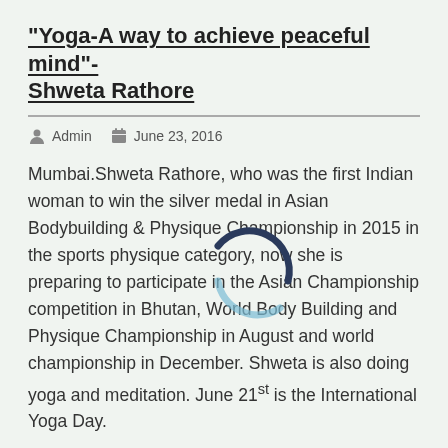“Yoga-A way to achieve peaceful mind”- Shweta Rathore
Admin   June 23, 2016
Mumbai.Shweta Rathore, who was the first Indian woman to win the silver medal in Asian Bodybuilding & Physique Championship in 2015 in the sports physique category, now she is preparing to participate in the Asian Championship competition in Bhutan, World Body Building and Physique Championship in August and world championship in December. Shweta is also doing yoga and meditation. June 21st is the International Yoga Day.
On the occasion of International Yoga Day Shweta Rathore says, “In today’s monotonous and hectic life it is very difficult to follow a healthy lifestyle but,